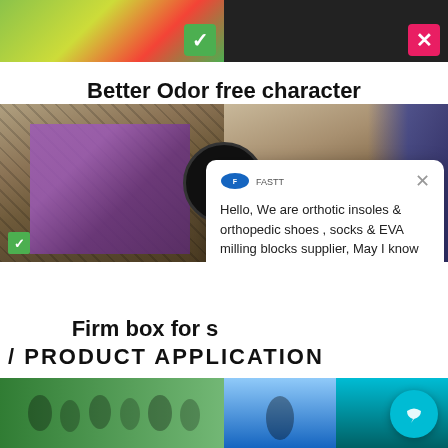[Figure (photo): Two product comparison images side by side: left with green checkmark badge, right with pink X badge]
Better Odor free character
[Figure (photo): Cardboard boxes packaging photos side by side with PK logo overlay and FASTT chat widget overlay]
Firm box for s[hipping]
/ PRODUCT APPLICATION
[Figure (photo): Bottom row of product application photos: people running outdoors, person with backpack, teal partial image]